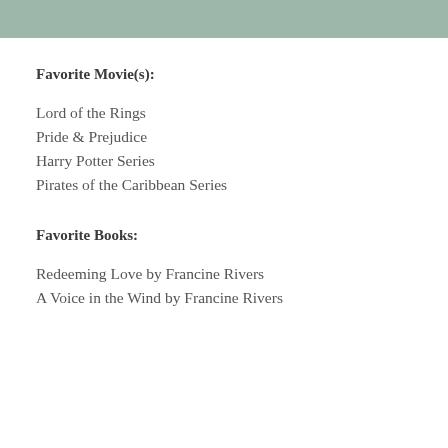[Figure (other): Muted green/sage header bar across the top of the page]
Favorite Movie(s):
Lord of the Rings
Pride & Prejudice
Harry Potter Series
Pirates of the Caribbean Series
Favorite Books:
Redeeming Love by Francine Rivers
A Voice in the Wind by Francine Rivers